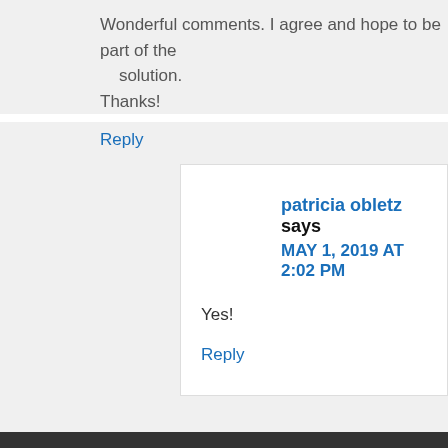Wonderful comments. I agree and hope to be part of the solution.
Thanks!
Reply
patricia obletz says
MAY 1, 2019 AT 2:02 PM
Yes!
Reply
Subscribe to NNS today!
blurondo says